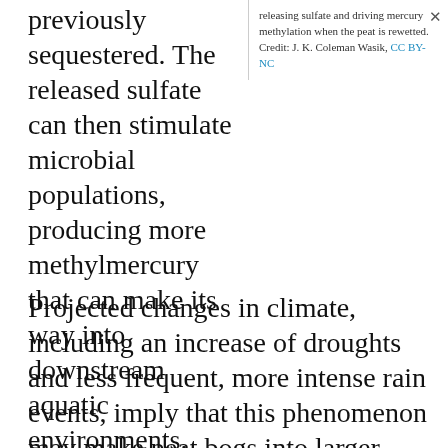previously sequestered. The released sulfate can then stimulate microbial populations, producing more methylmercury that can make its way into downstream aquatic environments.
releasing sulfate and driving mercury methylation when the peat is rewetted. Credit: J. K. Coleman Wasik, CC BY-NC
Projected changes in climate, including an increase of droughts and less frequent, more intense rain events, imply that this phenomenon may make peat bogs into larger sources of methylmercury to downstream water resources and ecosystems.